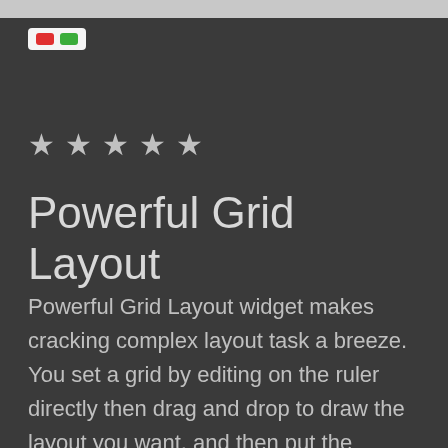[Figure (screenshot): Small UI widget icon showing a red rectangle and a green rectangle on a light grey background, resembling a toggle or media control widget.]
★ ★ ★ ★ ★
Powerful Grid Layout
Powerful Grid Layout widget makes cracking complex layout task a breeze. You set a grid by editing on the ruler directly then drag and drop to draw the layout you want, and then put the beautiful widgets you want on the layout. With Grid, you can easily create things like Collage/Galleries